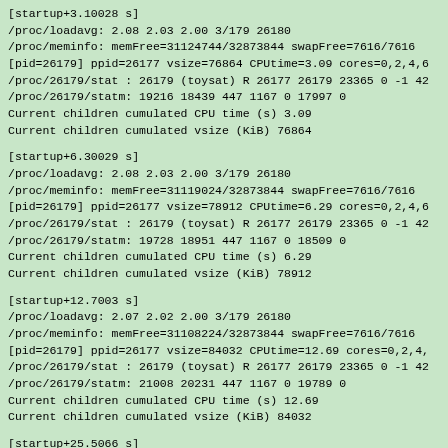[startup+3.10028 s]
/proc/loadavg: 2.08 2.03 2.00 3/179 26180
/proc/meminfo: memFree=31124744/32873844 swapFree=7616/7616
[pid=26179] ppid=26177 vsize=76864 CPUtime=3.09 cores=0,2,4,6
/proc/26179/stat : 26179 (toysat) R 26177 26179 23365 0 -1 42
/proc/26179/statm: 19216 18439 447 1167 0 17997 0
Current children cumulated CPU time (s) 3.09
Current children cumulated vsize (KiB) 76864
[startup+6.30029 s]
/proc/loadavg: 2.08 2.03 2.00 3/179 26180
/proc/meminfo: memFree=31119024/32873844 swapFree=7616/7616
[pid=26179] ppid=26177 vsize=78912 CPUtime=6.29 cores=0,2,4,6
/proc/26179/stat : 26179 (toysat) R 26177 26179 23365 0 -1 42
/proc/26179/statm: 19728 18951 447 1167 0 18509 0
Current children cumulated CPU time (s) 6.29
Current children cumulated vsize (KiB) 78912
[startup+12.7003 s]
/proc/loadavg: 2.07 2.02 2.00 3/179 26180
/proc/meminfo: memFree=31108224/32873844 swapFree=7616/7616
[pid=26179] ppid=26177 vsize=84032 CPUtime=12.69 cores=0,2,4,
/proc/26179/stat : 26179 (toysat) R 26177 26179 23365 0 -1 42
/proc/26179/statm: 21008 20231 447 1167 0 19789 0
Current children cumulated CPU time (s) 12.69
Current children cumulated vsize (KiB) 84032
[startup+25.5066 s]
/proc/loadavg: 2.05 2.02 2.00 3/179 26180
/proc/meminfo: memFree=31084268/32873844 swapFree=7616/7616
[pid=26179] ppid=26177 vsize=98368 CPUtime=25.49 cores=0,2,4,
/proc/26179/stat : 26179 (toysat) R 26177 26179 23365 0 -1 42